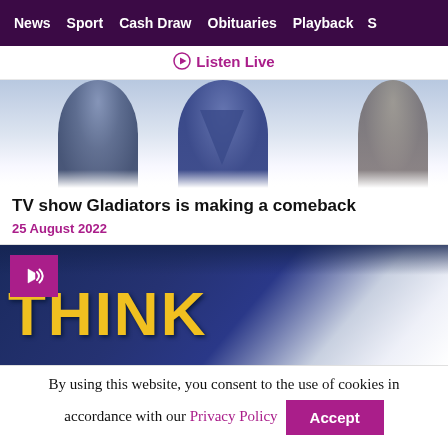News  Sport  Cash Draw  Obituaries  Playback  S
Listen Live
[Figure (photo): Top portion of Gladiators TV show promotional image showing characters in blue and silver costume against a white/blue background]
TV show Gladiators is making a comeback
25 August 2022
[Figure (photo): Think logo image with yellow letters on dark navy/white brushstroke background, with a pink audio/speaker badge in the top left corner]
By using this website, you consent to the use of cookies in accordance with our Privacy Policy
Accept